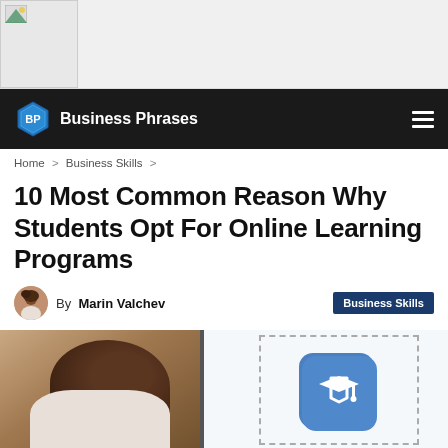[Figure (screenshot): Ad banner placeholder with broken image icon on grey background]
BP Business Phrases
Home > Business Skills >
10 Most Common Reason Why Students Opt For Online Learning Programs
By Marin Valchev  Business Skills
[Figure (photo): Hero image split: left side shows a person with dark hair from behind; right side shows an e-learning app icon (graduation cap on blue rounded square) on a white board with dotted border and 'E-LEARNING' label below]